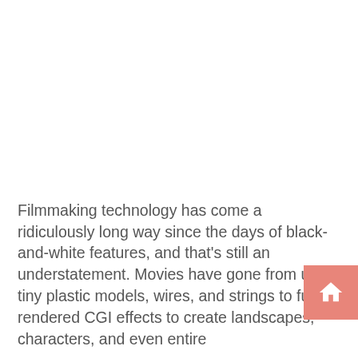Filmmaking technology has come a ridiculously long way since the days of black-and-white features, and that's still an understatement. Movies have gone from using tiny plastic models, wires, and strings to fully-rendered CGI effects to create landscapes, characters, and even entire